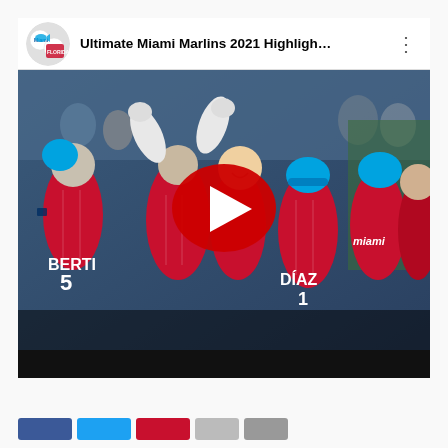[Figure (screenshot): YouTube video thumbnail showing Miami Marlins 2021 highlights. The video topbar displays a circular channel logo (Miami sports teams logos combined), the title 'Ultimate Miami Marlins 2021 Highligh...' and a three-dot menu icon. The thumbnail shows Miami Marlins players in red pinstripe uniforms and light blue caps celebrating, with player BERTI #5 and DÍAZ #1 visible. A large red YouTube play button is overlaid in the center of the image. The bottom of the video has a dark bar.]
[Figure (other): Row of small social media reaction/share buttons at the bottom of the page]